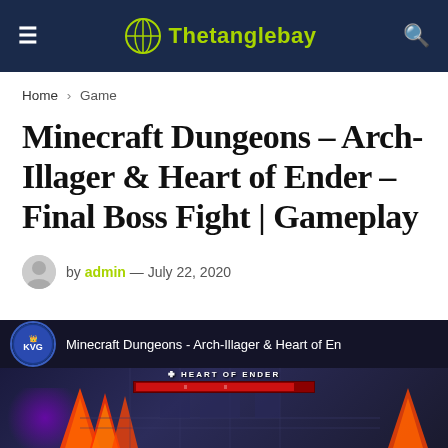Thetanglebay
Home > Game
Minecraft Dungeons – Arch-Illager & Heart of Ender – Final Boss Fight | Gameplay
by admin — July 22, 2020
[Figure (screenshot): YouTube video thumbnail showing Minecraft Dungeons gameplay with Heart of Ender boss health bar, fire effects, and purple glow. KVG channel logo visible.]